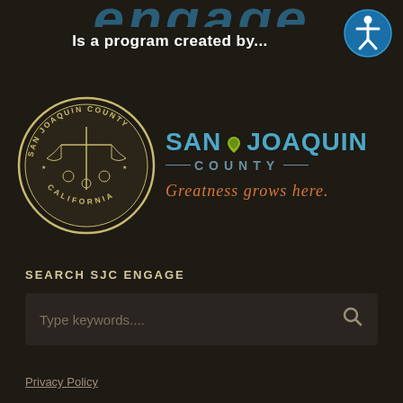engage
Is a program created by...
[Figure (logo): San Joaquin County seal (circular emblem with scales of justice and agricultural imagery, text reading SAN JOAQUIN COUNTY CALIFORNIA) alongside the San Joaquin County logo with text SAN JOAQUIN COUNTY and tagline Greatness grows here.]
SEARCH SJC ENGAGE
Type keywords....
Privacy Policy